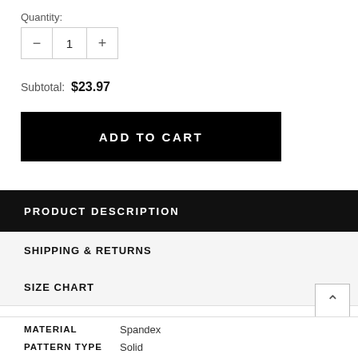Quantity:
- 1 +
Subtotal: $23.97
ADD TO CART
PRODUCT DESCRIPTION
SHIPPING & RETURNS
SIZE CHART
| Attribute | Value |
| --- | --- |
| MATERIAL | Spandex |
| PATTERN TYPE | Solid |